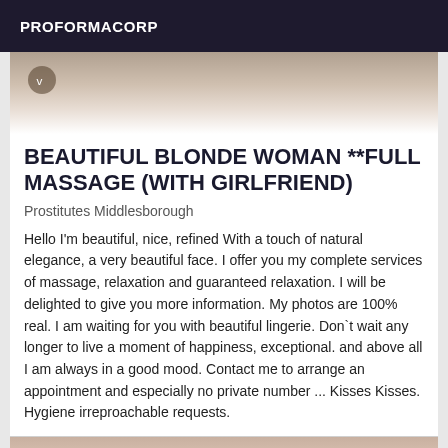PROFORMACORP
[Figure (photo): Partial view of a bed with white linens and a brown/tan surface, with a small circular logo/badge visible in the upper left corner]
BEAUTIFUL BLONDE WOMAN **FULL MASSAGE (WITH GIRLFRIEND)
Prostitutes Middlesborough
Hello I'm beautiful, nice, refined With a touch of natural elegance, a very beautiful face. I offer you my complete services of massage, relaxation and guaranteed relaxation. I will be delighted to give you more information. My photos are 100% real. I am waiting for you with beautiful lingerie. Don`t wait any longer to live a moment of happiness, exceptional. and above all I am always in a good mood. Contact me to arrange an appointment and especially no private number ... Kisses Kisses. Hygiene irreproachable requests.
[Figure (photo): Partial view of a person, cropped at bottom of page]